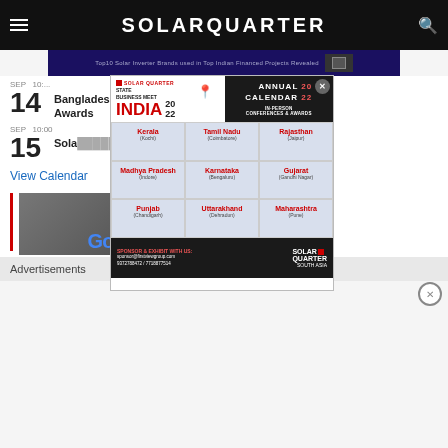SOLARQUARTER
[Figure (infographic): Banner advertisement strip for KEXUA TECH solar inverter brands]
SEP 14 Bangladesh Solar Week 2022: Conference & Awards
Advertisements
SEP 15 10:00 Sola...
View Calendar
[Figure (infographic): Solar Quarter State Business Meet India 2022 Annual Calendar overlay advertisement showing in-person conferences and awards across Indian states: Kerala (Kochi), Tamil Nadu (Coimbatore), Rajasthan (Jaipur), Madhya Pradesh (Indore), Karnataka (Bengaluru), Gujarat (Gandhi Nagar), Punjab (Chandigarh), Uttarakhand (Dehradun), Maharashtra (Pune). Sponsor & Exhibit contact: sponsor@firstviewgroup.com, 9372788472/7718877514]
[Figure (photo): Hand holding tablet device showing Google logo]
Advertisements